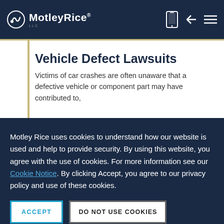Motley Rice LLC — Navigation bar with logo, mobile icon, back arrow, and menu icon
Vehicle Defect Lawsuits
Victims of car crashes are often unaware that a defective vehicle or component part may have contributed to,
Motley Rice uses cookies to understand how our website is used and help to provide security. By using this website, you agree with the use of cookies. For more information see our Cookie Notice. By clicking Accept, you agree to our privacy policy and use of these cookies.
ACCEPT
DO NOT USE COOKIES